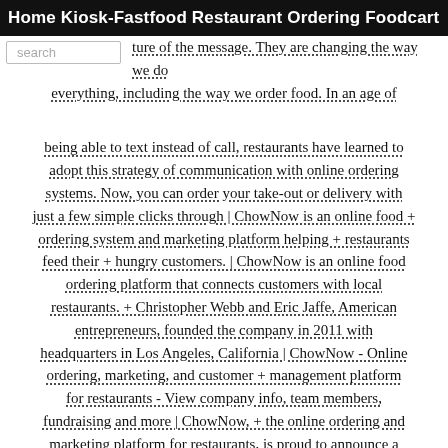Home  Kiosk-Fastfood  Restaurant Ordering  Foodcart
ture of the message. They are changing the way we do everything, including the way we order food. In an age of being able to text instead of call, restaurants have learned to adopt this strategy of communication with online ordering systems. Now, you can order your take-out or delivery with just a few simple clicks through | ChowNow is an online food + ordering system and marketing platform helping + restaurants feed their + hungry customers. | ChowNow is an online food ordering platform that connects customers with local restaurants. + Christopher Webb and Eric Jaffe, American entrepreneurs, founded the company in 2011 with headquarters in Los Angeles, California | ChowNow - Online ordering, marketing, and customer + management platform for restaurants - View company info, team members, fundraising and more | ChowNow, + the online ordering and marketing platform for restaurants, is proud to announce a